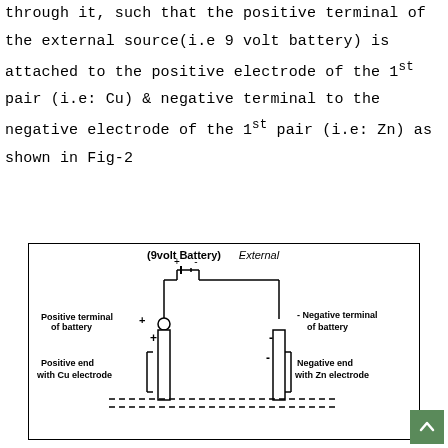through it, such that the positive terminal of the external source(i.e 9 volt battery) is attached to the positive electrode of the 1st pair (i.e: Cu) & negative terminal to the negative electrode of the 1st pair (i.e: Zn) as shown in Fig-2
[Figure (schematic): Diagram showing a 9volt Battery (External) connected to electrochemical cell. Positive terminal of battery connects to Cu electrode (positive end), negative terminal connects to Zn electrode (negative end). Battery symbol shown at top with + and - terminals. Electrodes shown as vertical rectangles submerged in solution (dashed lines at bottom).]